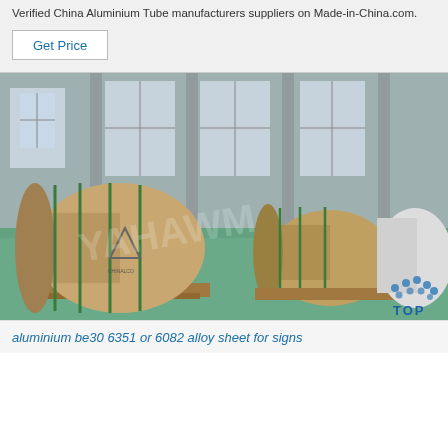Verified China Aluminium Tube manufacturers suppliers on Made-in-China.com.
Get Price
[Figure (photo): Warehouse photo showing large cylindrical aluminium coil rolls wrapped in brown paper and strapped with green bands, sitting on wooden pallets on a teal/green factory floor, with windows and industrial structure in the background. A 'TOP' logo watermark appears in the bottom right.]
aluminium be30 6351 or 6082 alloy sheet for signs